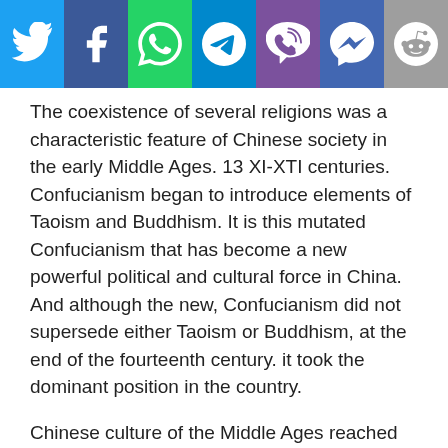[Figure (other): Social media sharing bar with icons for Twitter, Facebook, WhatsApp, Telegram, Viber, Messenger, and Reddit]
The coexistence of several religions was a characteristic feature of Chinese society in the early Middle Ages. 13 XI-XTI centuries. Confucianism began to introduce elements of Taoism and Buddhism. It is this mutated Confucianism that has become a new powerful political and cultural force in China. And although the new, Confucianism did not supersede either Taoism or Buddhism, at the end of the fourteenth century. it took the dominant position in the country.
Chinese culture of the Middle Ages reached unprecedented heights. Since ancient times, the Chinese owned a hieroglyphic letter. This brought to life a special kind of art – calligraphy. People, gifted with a talent to write beautifully, were looking for specially, especially among officials. Educated people gave the art of calligraphy a lot of time and energy, because they